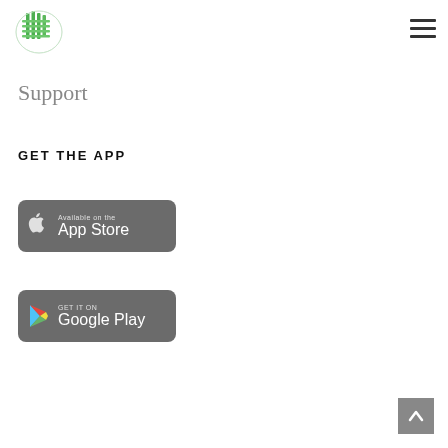[Figure (logo): Green grid/mesh circular logo icon]
[Figure (other): Hamburger menu icon (three horizontal lines)]
Support
GET THE APP
[Figure (other): Available on the App Store badge (dark grey rounded rectangle with Apple logo)]
[Figure (other): Get it on Google Play badge (dark grey rounded rectangle with Google Play logo)]
[Figure (other): Back to top button (grey square with up arrow)]